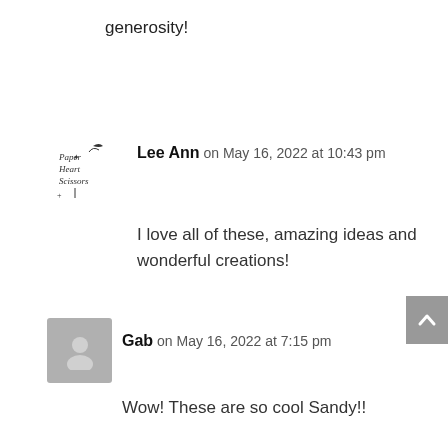generosity!
Lee Ann on May 16, 2022 at 10:43 pm
I love all of these, amazing ideas and wonderful creations!
Gab on May 16, 2022 at 7:15 pm
Wow! These are so cool Sandy!!